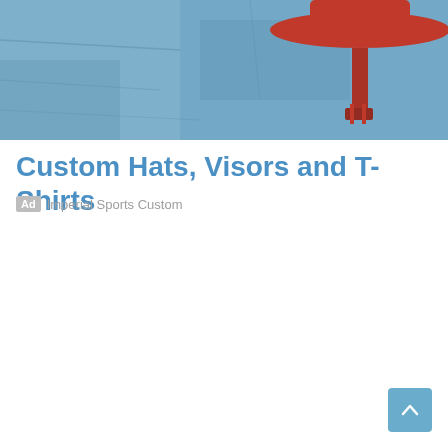[Figure (photo): Photo of a red hat or visor displayed against a denim/blue textile background]
Custom Hats, Visors and T-Shirts
Ad  Imperial Sports Custom